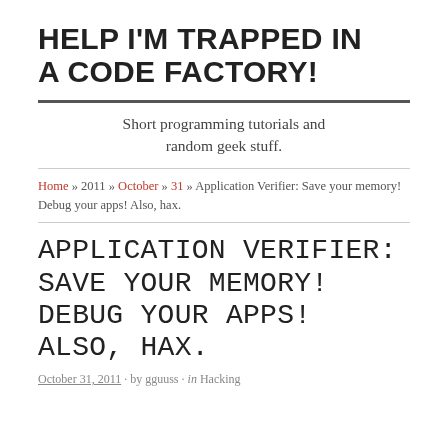HELP I'M TRAPPED IN A CODE FACTORY!
Short programming tutorials and random geek stuff.
Home » 2011 » October » 31 » Application Verifier: Save your memory! Debug your apps! Also, hax.
APPLICATION VERIFIER: SAVE YOUR MEMORY! DEBUG YOUR APPS! ALSO, HAX.
October 31, 2011 · by gguuss · in Hacking